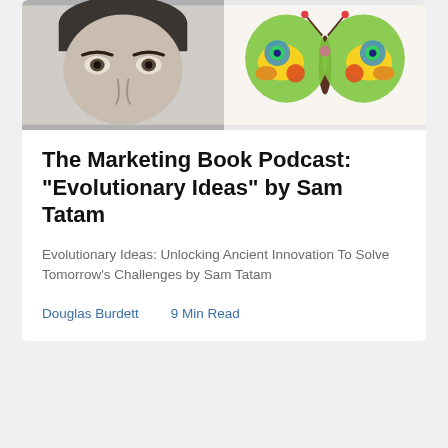[Figure (photo): Black and white photo of a man's face (upper portion), cropped at nose level, on the left side of the card header]
[Figure (illustration): Colorful decorative butterfly illustration with psychedelic eyes and patterns on the right side of the card header]
The Marketing Book Podcast: "Evolutionary Ideas" by Sam Tatam
Evolutionary Ideas: Unlocking Ancient Innovation To Solve Tomorrow’s Challenges by Sam Tatam
Douglas Burdett    9 Min Read